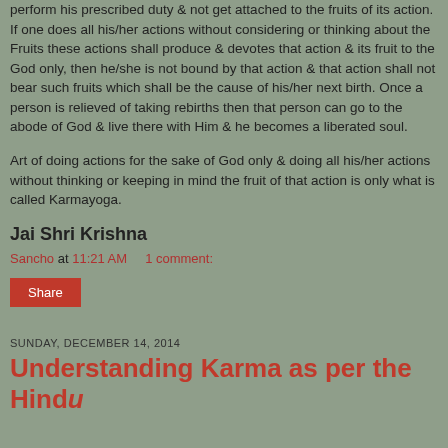perform his prescribed duty & not get attached to the fruits of its action. If one does all his/her actions without considering or thinking about the Fruits these actions shall produce & devotes that action & its fruit to the God only, then he/she is not bound by that action & that action shall not bear such fruits which shall be the cause of his/her next birth. Once a person is relieved of taking rebirths then that person can go to the abode of God & live there with Him & he becomes a liberated soul.
Art of doing actions for the sake of God only & doing all his/her actions without thinking or keeping in mind the fruit of that action is only what is called Karmayoga.
Jai Shri Krishna
Sancho at 11:21 AM    1 comment:
Share
SUNDAY, DECEMBER 14, 2014
Understanding Karma as per the Hindu